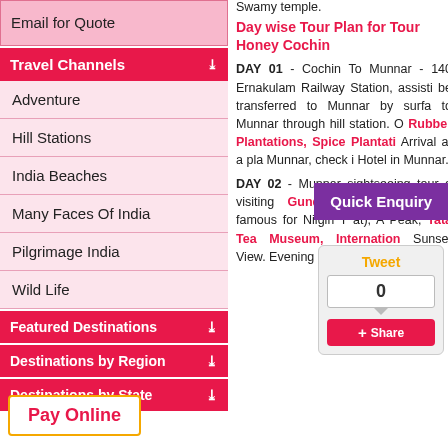Email for Quote
Travel Channels
Adventure
Hill Stations
India Beaches
Many Faces Of India
Pilgrimage India
Wild Life
Featured Destinations
Destinations by Region
Destinations by State
Pay Online
Swamy temple.
Day wise Tour Plan for Tour Honey Cochin
DAY 01 - Cochin To Munnar - 140 Ernakulam Railway Station, assisti be transferred to Munnar by surfa to Munnar through hill station. O Rubber Plantations, Spice Plantati Arrival at a pla Munnar, check i Hotel in Munnar.
DAY 02 - Munnar sightseeing tour o visiting Gundala Lake, Ph Raja famous for Nilgiri T at), A Peak, Tata Tea Museum, Internation Sunset View. Evening Spice/Tea tra Munnar.
[Figure (other): Quick Enquiry button (purple/violet background)]
[Figure (other): Tweet/Share widget showing count 0 and Share button]